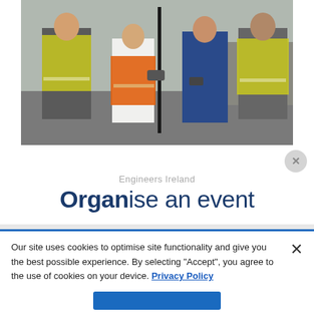[Figure (photo): Group of people in high-visibility vests (yellow and orange) working with surveying equipment (a tall pole/staff) on a street. Five people visible, one woman in orange vest, others in yellow vests or casual clothing.]
Engineers Ireland
Organise an event
Our site uses cookies to optimise site functionality and give you the best possible experience. By selecting "Accept", you agree to the use of cookies on your device. Privacy Policy